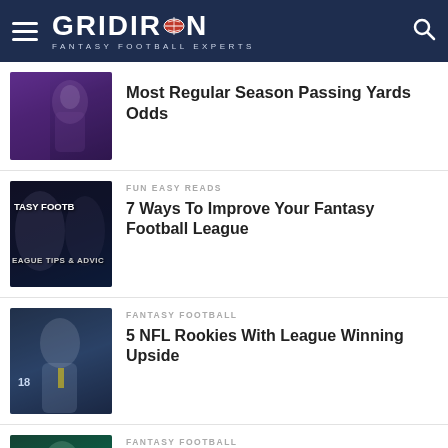GRIDIRON - FANTASY FOOTBALL EXPERTS
Most Regular Season Passing Yards Odds
FUN EASY READS
7 Ways To Improve Your Fantasy Football League
FANTASY FOOTBALL
5 NFL Rookies With League Winning Upside
FANTASY FOOTBALL
DJ Moore Fantasy Forecast 2022